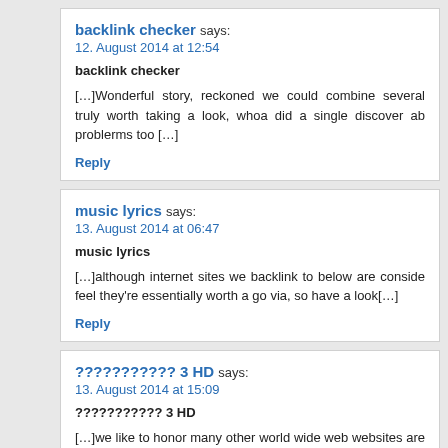backlink checker says:
12. August 2014 at 12:54

backlink checker

[...]Wonderful story, reckoned we could combine several truly worth taking a look, whoa did a single discover ab problerms too [...]
Reply
music lyrics says:
13. August 2014 at 06:47

music lyrics

[...]although internet sites we backlink to below are conside feel they're essentially worth a go via, so have a look[...]
Reply
??????????? 3 HD says:
13. August 2014 at 15:09

??????????? 3 HD

[...]we like to honor many other world wide web websites are aren't linked to us, by linking to them. Beneath are some we out[...]